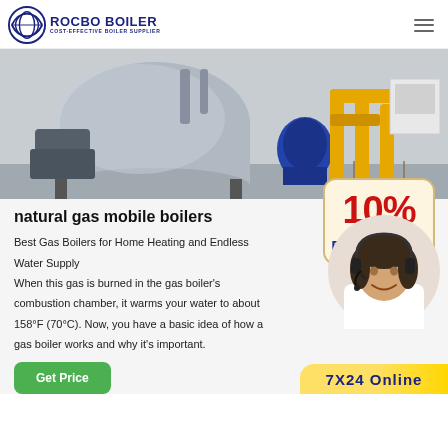[Figure (logo): Rocbo Boiler logo with circular emblem and text 'ROCBO BOILER - COST-EFFECTIVE BOILER SUPPLIER']
[Figure (photo): Industrial natural gas boiler in a facility with yellow gas pipes and blue connections]
natural gas mobile boilers
[Figure (other): 10% DISCOUNT promotional badge in red and blue with hanging string]
Best Gas Boilers for Home Heating and Endless Water Supply When this gas is burned in the gas boiler's combustion chamber, it warms your water to about 158°F (70°C). Now, you have a basic idea of how a gas boiler works and why it's important.
[Figure (photo): Customer service agent woman wearing headset, smiling]
[Figure (other): 7X24 Online support bar in yellow/gold at bottom right]